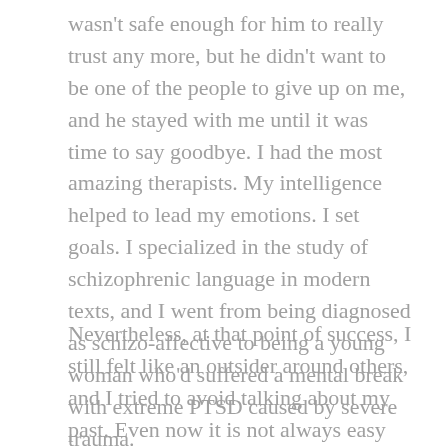wasn't safe enough for him to really trust any more, but he didn't want to be one of the people to give up on me, and he stayed with me until it was time to say goodbye. I had the most amazing therapists. My intelligence helped to lead my emotions. I set goals. I specialized in the study of schizophrenic language in modern texts, and I went from being diagnosed as schizo-affective to being a young woman who'd suffered a mental break with extreme PTSD caused by severe trauma.
Nevertheless, at that point of success, I still felt like an outsider around others, and I tried to avoid talking about my past. Even now it is not always easy for me to connect with others. Not everyone understands and can empathize with what I have lived through.